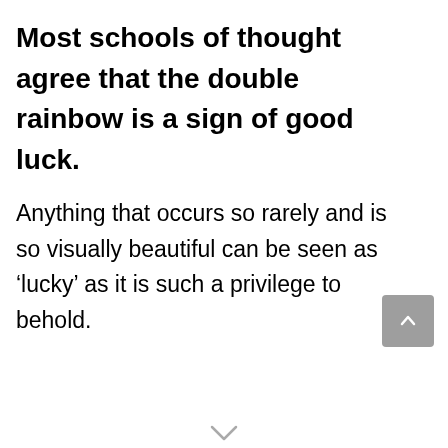Most schools of thought agree that the double rainbow is a sign of good luck.
Anything that occurs so rarely and is so visually beautiful can be seen as ‘lucky’ as it is such a privilege to behold.